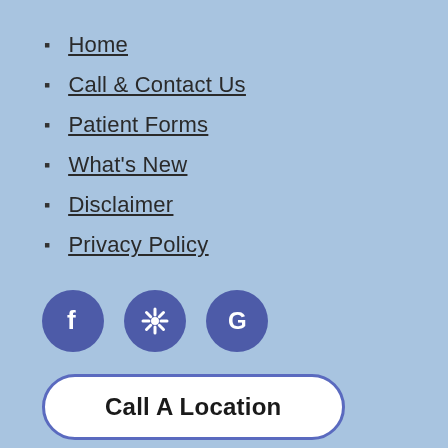Home
Call & Contact Us
Patient Forms
What's New
Disclaimer
Privacy Policy
[Figure (logo): Three social media icon circles: Facebook (f), Yelp (asterisk/flower icon), Google (G), all in indigo/purple color]
Call A Location
Search the site